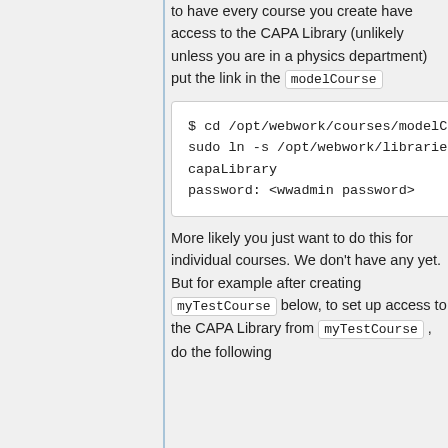to have every course you create have access to the CAPA Library (unlikely unless you are in a physics department) put the link in the modelCourse
$ cd /opt/webwork/courses/modelCo
sudo ln -s /opt/webwork/libraries/roche
capaLibrary
password: <wwadmin password>
More likely you just want to do this for individual courses. We don't have any yet. But for example after creating myTestCourse below, to set up access to the CAPA Library from myTestCourse , do the following